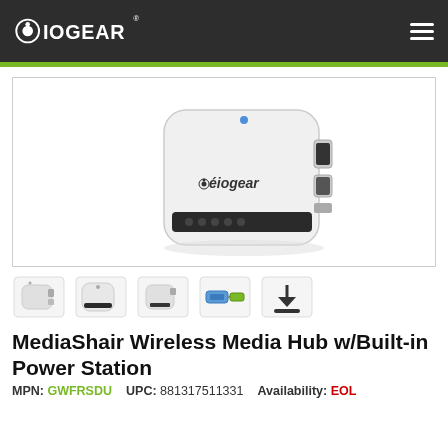IOGEAR
[Figure (photo): IOGEAR MediaShair wireless media hub device - white square device with IOGEAR branding, USB ports on the side, and indicator lights on the front]
[Figure (photo): Row of thumbnail images: side view of device, top view, front view, cables/connectors view, and download icon]
MediaShair Wireless Media Hub w/Built-in Power Station
MPN: GWFRSDU   UPC: 881317511331   Availability: EOL